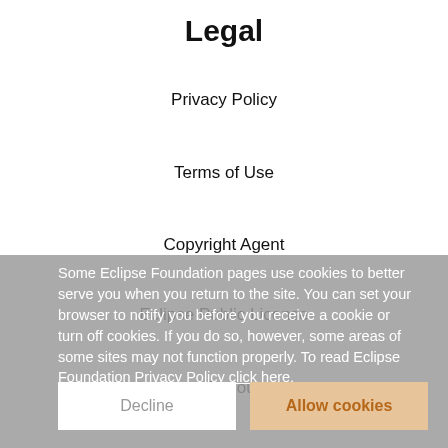Legal
Privacy Policy
Terms of Use
Copyright Agent
Eclipse Public License
Legal Resources
Useful Links
Report a Bug
Documentation
How to Contribute
Mailing Lists
Forums
Marketplace
Some Eclipse Foundation pages use cookies to better serve you when you return to the site. You can set your browser to notify you before you receive a cookie or turn off cookies. If you do so, however, some areas of some sites may not function properly. To read Eclipse Foundation Privacy Policy click here.
Decline
Allow cookies